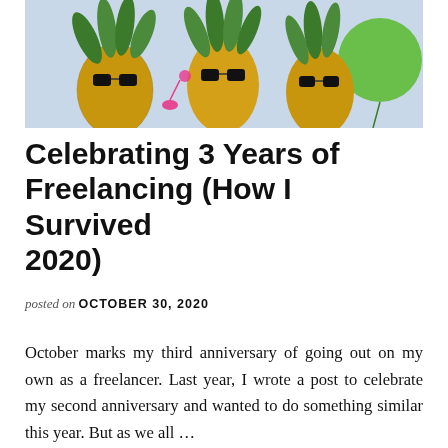[Figure (photo): Photo of pineapples dressed with sunglasses and party decorations with a green balloon in the background]
Celebrating 3 Years of Freelancing (How I Survived 2020)
posted on OCTOBER 30, 2020
October marks my third anniversary of going out on my own as a freelancer. Last year, I wrote a post to celebrate my second anniversary and wanted to do something similar this year. But as we all …